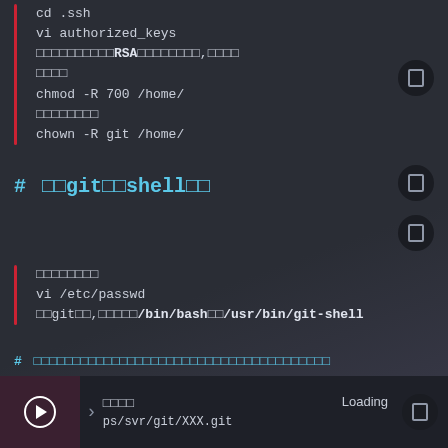cd .ssh
vi authorized_keys
（将之前生成的RSA公钥内容粘贴，保存
退出）
chmod -R 700 /home/
（用户名）
chown -R git /home/
# 　设git用户的shell限制
编辑密码文件
vi /etc/passwd
将git行，将原来的/bin/bash改为/usr/bin/git-shell
# 　在服务器上创建代码仓库（也可以在本机创建后上传）
▶ 上个视频
Loading
ps/svr/git/XXX.git